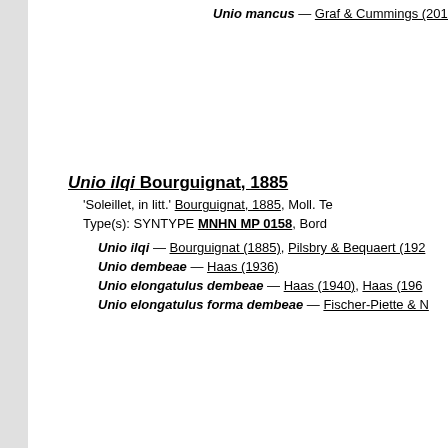Unio mancus — Graf & Cummings (2011)
Unio ilqi Bourguignat, 1885
'Soleillet, in litt.' Bourguignat, 1885, Moll. Te
Type(s): SYNTYPE MNHN MP 0158, Bord
Unio ilqi — Bourguignat (1885), Pilsbry & Bequaert (192
Unio dembeae — Haas (1936)
Unio elongatulus dembeae — Haas (1940), Haas (196
Unio elongatulus forma dembeae — Fischer-Piette & N